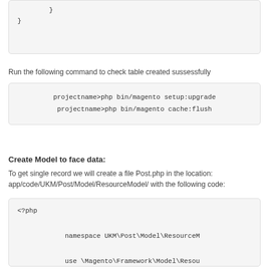}
}
Run the following command to check table created sussessfully
projectname>php bin/magento setup:upgrade
    projectname>php bin/magento cache:flush
Create Model to face data:
To get single record we will create a file Post.php in the location: app/code/UKM/Post/Model/ResourceModel/ with the following code:
<?php

            namespace UKM\Post\Model\ResourceM

            use \Magento\Framework\Model\Resou

            class Post extends AbstractDb
            {